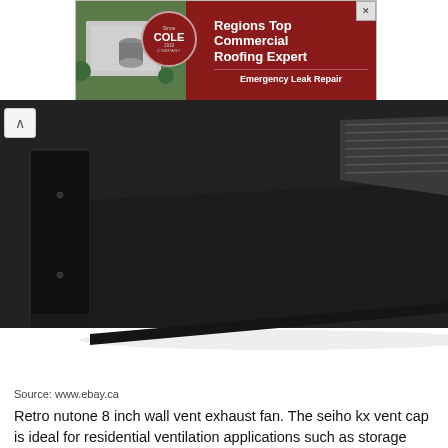[Figure (photo): Advertisement banner for Cole Roofing Company showing aerial view of building and text: Regions Top Commercial Roofing Expert, Emergency Leak Repair]
[Figure (photo): Close-up product photo of a black metal wall vent exhaust cap, showing angled dark metal housing against a white background]
Source: www.ebay.ca
Retro nutone 8 inch wall vent exhaust fan. The seiho kx vent cap is ideal for residential ventilation applications such as storage rooms, attics, basements, as well as bathroom / kictchen exhaust.